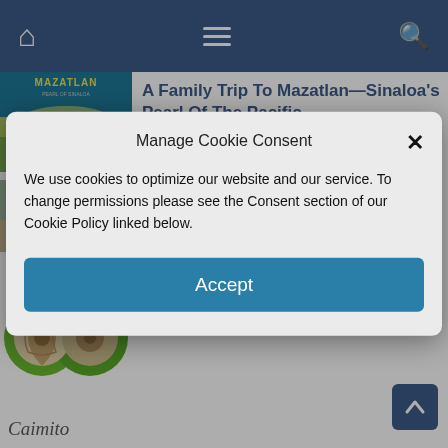[Figure (screenshot): Navigation bar with home icon, hamburger menu, and search icon on dark blue background]
[Figure (photo): Thumbnail image for Mazatlan article showing coastal city with beach and hills]
A Family Trip To Mazatlan—Sinaloa's Pearl Of The Pacific
[Figure (photo): Partial thumbnail for Decades Ago article]
Decades Ago
[Figure (photo): Thumbnail showing caimito fruit - green round fruits with cross-section view]
The Month Of June
Manage Cookie Consent
We use cookies to optimize our website and our service. To change permissions please see the Consent section of our Cookie Policy linked below.
Accept